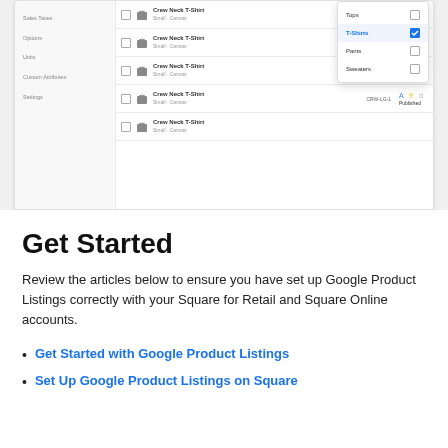[Figure (screenshot): Screenshot of a square e-commerce product management interface showing a sidebar with items (Sales Taxes, Options, Units, Custom Attributes, Settings) and a main product listing table with Crew Neck T-Shirt rows. A dropdown overlay shows category checkboxes: Tops (unchecked), T-Shirts (checked/blue), Pants (unchecked), Sweaters (unchecked). Rows show checkbox, shirt icon, product name, SKU, and Published status.]
Get Started
Review the articles below to ensure you have set up Google Product Listings correctly with your Square for Retail and Square Online accounts.
Get Started with Google Product Listings
Set Up Google Product Listings on Square